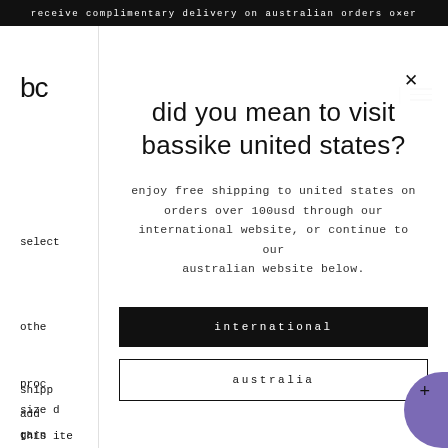receive complimentary delivery on australian orders over
bc
select
othe
did you mean to visit bassike united states?
enjoy free shipping to united states on orders over 100usd through our international website, or continue to our australian website below.
international
australia
proc
size d
garn
susto
shipp
add
this ite